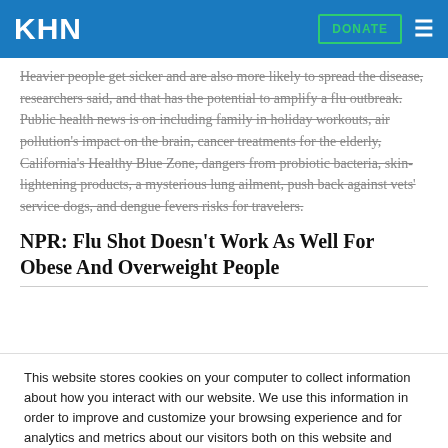KHN | DONATE
Heavier people get sicker and are also more likely to spread the disease, researchers said, and that has the potential to amplify a flu outbreak. Public health news is on including family in holiday workouts, air pollution's impact on the brain, cancer treatments for the elderly, California's Healthy Blue Zone, dangers from probiotic bacteria, skin-lightening products, a mysterious lung ailment, push back against vets' service dogs, and dengue fevers risks for travelers.
NPR: Flu Shot Doesn't Work As Well For Obese And Overweight People
This website stores cookies on your computer to collect information about how you interact with our website. We use this information in order to improve and customize your browsing experience and for analytics and metrics about our visitors both on this website and other media. To find out more about the cookies we use, see our Privacy Policy.
Accept